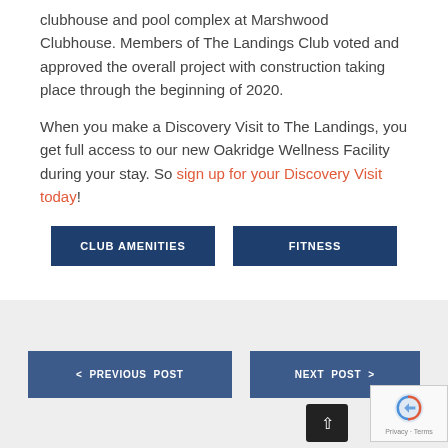clubhouse and pool complex at Marshwood Clubhouse. Members of The Landings Club voted and approved the overall project with construction taking place through the beginning of 2020.
When you make a Discovery Visit to The Landings, you get full access to our new Oakridge Wellness Facility during your stay. So sign up for your Discovery Visit today!
CLUB AMENITIES
FITNESS
< PREVIOUS POST
NEXT POST >